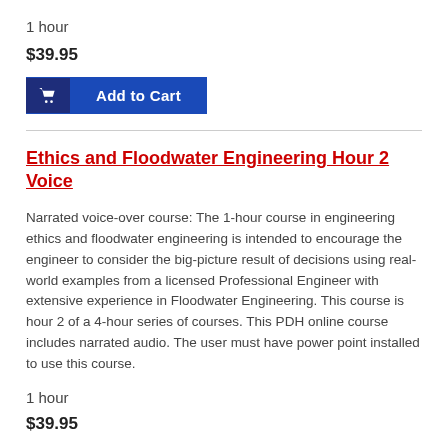1 hour
$39.95
[Figure (other): Add to Cart button with shopping cart icon]
Ethics and Floodwater Engineering Hour 2 Voice
Narrated voice-over course: The 1-hour course in engineering ethics and floodwater engineering is intended to encourage the engineer to consider the big-picture result of decisions using real-world examples from a licensed Professional Engineer with extensive experience in Floodwater Engineering. This course is hour 2 of a 4-hour series of courses. This PDH online course includes narrated audio. The user must have power point installed to use this course.
1 hour
$39.95